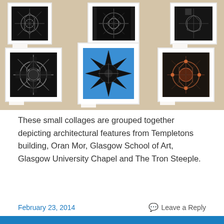[Figure (photo): Gallery wall showing six framed collage artworks depicting architectural features. The collages feature mandala-like geometric patterns in black, white, and blue tones, arranged in two rows of three on a beige/cream wall.]
These small collages are grouped together depicting architectural features from Templetons building, Oran Mor, Glasgow School of Art, Glasgow University Chapel and The Tron Steeple.
February 23, 2014    Leave a Reply